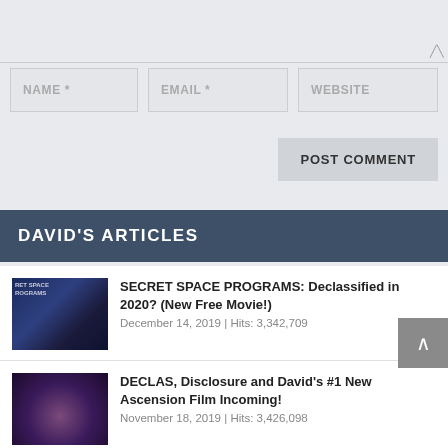[Figure (screenshot): Comment form with textarea (top), three input fields (NAME*, EMAIL*, WEBSITE), and a POST COMMENT button]
NAME *
EMAIL *
WEBSITE
POST COMMENT
DAVID'S ARTICLES
SECRET SPACE PROGRAMS: Declassified in 2020? (New Free Movie!) December 14, 2019 | Hits: 3,342,709
DECLAS, Disclosure and David's #1 New Ascension Film Incoming! November 18, 2019 | Hits: 3,426,098
IT BEGINS: Epstein Indicted, Black-Ops Mega-Base Destroyed!